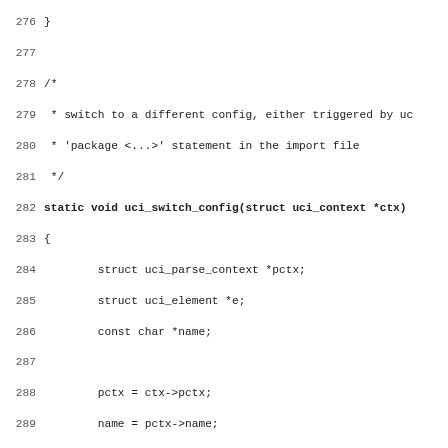[Figure (screenshot): Source code listing in C, lines 276-307, showing a function uci_switch_config with comments and logic for switching UCI configurations.]